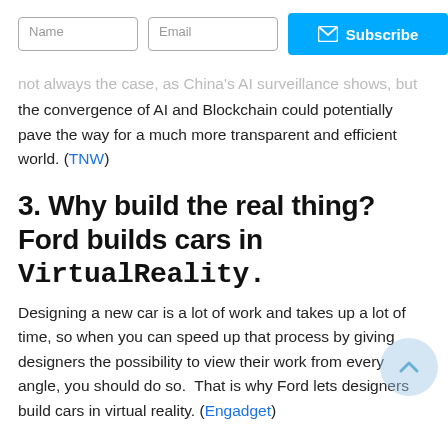When technologies converge, society changes. This is not always the case, as China's AI surveillance shows, but the convergence of AI and Blockchain could potentially pave the way for a much more transparent and efficient world. (TNW)
3. Why build the real thing? Ford builds cars in Virtual Reality.
Designing a new car is a lot of work and takes up a lot of time, so when you can speed up that process by giving designers the possibility to view their work from every angle, you should do so. That is why Ford lets designers build cars in virtual reality. (Engadget)